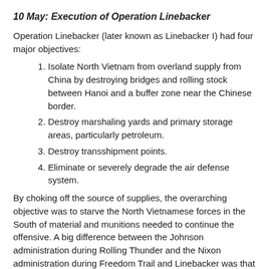10 May: Execution of Operation Linebacker
Operation Linebacker (later known as Linebacker I) had four major objectives:
Isolate North Vietnam from overland supply from China by destroying bridges and rolling stock between Hanoi and a buffer zone near the Chinese border.
Destroy marshaling yards and primary storage areas, particularly petroleum.
Destroy transshipment points.
Eliminate or severely degrade the air defense system.
By choking off the source of supplies, the overarching objective was to starve the North Vietnamese forces in the South of material and munitions needed to continue the offensive. A big difference between the Johnson administration during Rolling Thunder and the Nixon administration during Freedom Trail and Linebacker was that the Nixon administration left operational planning to on-scene commanders and greatly loosened target restrictions—in other words, far less micromanagement from Washington.
Operation Linebacker commenced on 10 May, with 414 sorties (294 by the